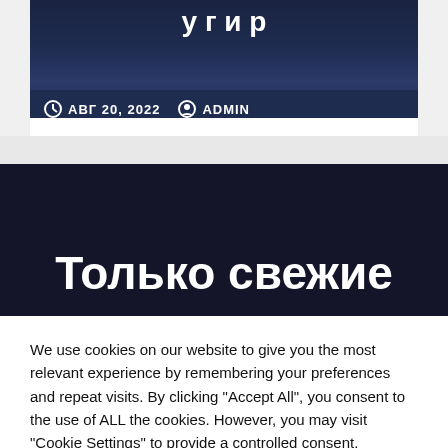[Figure (screenshot): Partial website screenshot showing a dark space/rocket imagery card with Cyrillic text overlay and metadata row showing date АВГ 20, 2022 and author ADMIN]
АВГ 20, 2022  ADMIN
Только свежие
We use cookies on our website to give you the most relevant experience by remembering your preferences and repeat visits. By clicking "Accept All", you consent to the use of ALL the cookies. However, you may visit "Cookie Settings" to provide a controlled consent.
Cookie Settings  Accept All